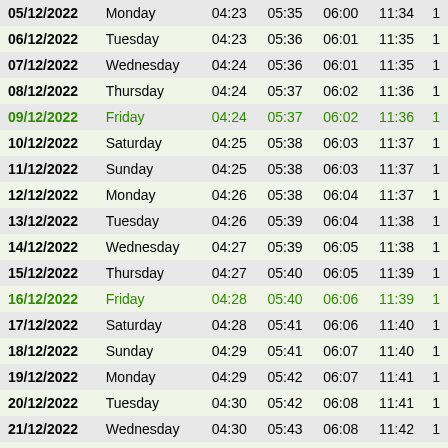| Date | Day | Col3 | Col4 | Col5 | Col6 | Col7 |
| --- | --- | --- | --- | --- | --- | --- |
| 05/12/2022 | Monday | 04:23 | 05:35 | 06:00 | 11:34 | 1 |
| 06/12/2022 | Tuesday | 04:23 | 05:36 | 06:01 | 11:35 | 1 |
| 07/12/2022 | Wednesday | 04:24 | 05:36 | 06:01 | 11:35 | 1 |
| 08/12/2022 | Thursday | 04:24 | 05:37 | 06:02 | 11:36 | 1 |
| 09/12/2022 | Friday | 04:24 | 05:37 | 06:02 | 11:36 | 1 |
| 10/12/2022 | Saturday | 04:25 | 05:38 | 06:03 | 11:37 | 1 |
| 11/12/2022 | Sunday | 04:25 | 05:38 | 06:03 | 11:37 | 1 |
| 12/12/2022 | Monday | 04:26 | 05:38 | 06:04 | 11:37 | 1 |
| 13/12/2022 | Tuesday | 04:26 | 05:39 | 06:04 | 11:38 | 1 |
| 14/12/2022 | Wednesday | 04:27 | 05:39 | 06:05 | 11:38 | 1 |
| 15/12/2022 | Thursday | 04:27 | 05:40 | 06:05 | 11:39 | 1 |
| 16/12/2022 | Friday | 04:28 | 05:40 | 06:06 | 11:39 | 1 |
| 17/12/2022 | Saturday | 04:28 | 05:41 | 06:06 | 11:40 | 1 |
| 18/12/2022 | Sunday | 04:29 | 05:41 | 06:07 | 11:40 | 1 |
| 19/12/2022 | Monday | 04:29 | 05:42 | 06:07 | 11:41 | 1 |
| 20/12/2022 | Tuesday | 04:30 | 05:42 | 06:08 | 11:41 | 1 |
| 21/12/2022 | Wednesday | 04:30 | 05:43 | 06:08 | 11:42 | 1 |
| 22/12/2022 | Thursday | 04:31 | 05:43 | 06:09 | 11:42 | 1 |